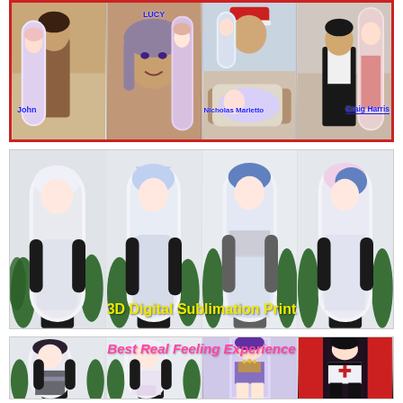[Figure (photo): Top collage of 4 customer photos holding anime dakimakura body pillows. Labels: John (bottom-left of first photo), LUCY (top-center of second photo), Nicholas Marletto (bottom of third photo), Craig Harris (bottom of fourth photo). Red border around collage.]
[Figure (photo): Grid of 4 product photos showing anime body pillows (dakimakura) with 3D Digital Sublimation Print text overlay in yellow. Each photo shows a person holding a large anime character body pillow.]
[Figure (photo): Bottom row of 4 product photos showing anime body pillows with 'Best Real Feeling Experience' text overlay in pink/magenta italic font. Shows various anime character designs on pillows.]